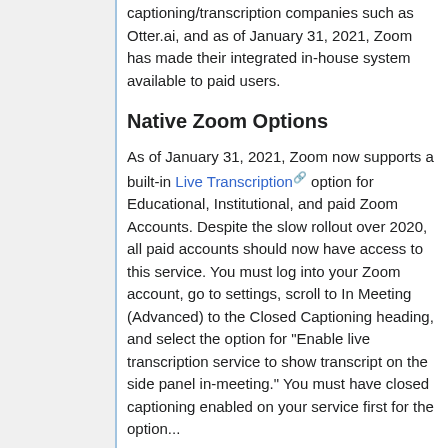captioning/transcription companies such as Otter.ai, and as of January 31, 2021, Zoom has made their integrated in-house system available to paid users.
Native Zoom Options
As of January 31, 2021, Zoom now supports a built-in Live Transcription option for Educational, Institutional, and paid Zoom Accounts. Despite the slow rollout over 2020, all paid accounts should now have access to this service. You must log into your Zoom account, go to settings, scroll to In Meeting (Advanced) to the Closed Captioning heading, and select the option for "Enable live transcription service to show transcript on the side panel in-meeting." You must have closed captioning enabled on your service first for the option...